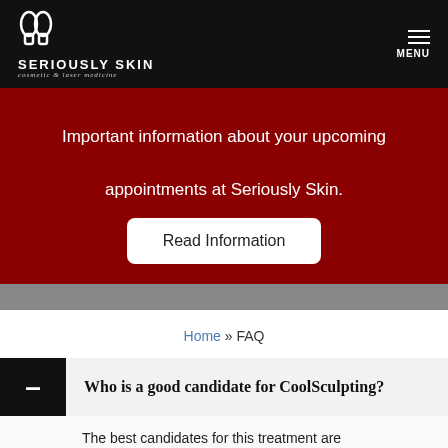[Figure (logo): Seriously Skin cosmetic & laser medicine logo with icon on black header bar]
Important information about your upcoming appointments at Seriously Skin.
Read Information
Home » FAQ
Who is a good candidate for CoolSculpting?
The best candidates for this treatment are